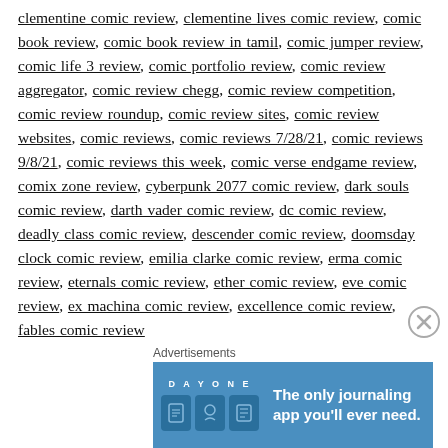clementine comic review, clementine lives comic review, comic book review, comic book review in tamil, comic jumper review, comic life 3 review, comic portfolio review, comic review aggregator, comic review chegg, comic review competition, comic review roundup, comic review sites, comic review websites, comic reviews, comic reviews 7/28/21, comic reviews 9/8/21, comic reviews this week, comic verse endgame review, comix zone review, cyberpunk 2077 comic review, dark souls comic review, darth vader comic review, dc comic review, deadly class comic review, descender comic review, doomsday clock comic review, emilia clarke comic review, erma comic review, eternals comic review, ether comic review, eve comic review, ex machina comic review, excellence comic review, fables comic review
Advertisements
[Figure (other): Day One journaling app advertisement with text 'The only journaling app you'll ever need.' on a blue background with app icons]